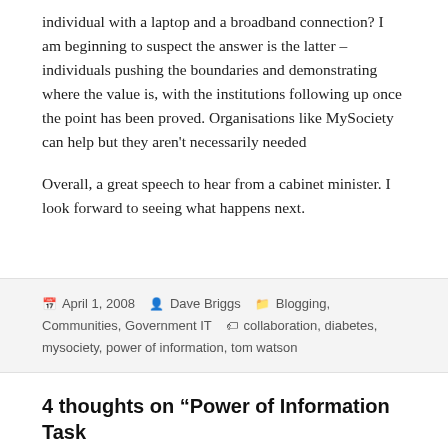individual with a laptop and a broadband connection? I am beginning to suspect the answer is the latter – individuals pushing the boundaries and demonstrating where the value is, with the institutions following up once the point has been proved. Organisations like MySociety can help but they aren't necessarily needed
Overall, a great speech to hear from a cabinet minister. I look forward to seeing what happens next.
April 1, 2008   Dave Briggs   Blogging, Communities, Government IT   collaboration, diabetes, mysociety, power of information, tom watson
4 thoughts on “Power of Information Task